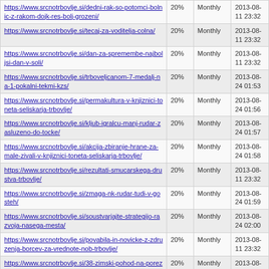| URL | Priority | Change Frequency | Last Changed |
| --- | --- | --- | --- |
| https://www.srcnotrbovlje.si/dedni-rak-so-potomci-bolnic-z-rakom-dojk-res-bolj-grozeni/ | 20% | Monthly | 2013-08-11 23:32 |
| https://www.srcnotrbovlje.si/tecaj-za-voditelja-colna/ | 20% | Monthly | 2013-08-11 23:32 |
| https://www.srcnotrbovlje.si/dan-za-spremembe-najboljsi-dan-v-soli/ | 20% | Monthly | 2013-08-11 23:32 |
| https://www.srcnotrbovlje.si/trboveljcanom-7-medalj-na-1-pokalni-tekmi-kzs/ | 20% | Monthly | 2013-08-24 01:53 |
| https://www.srcnotrbovlje.si/permakultura-v-knjiznici-toneta-seliskarja-trbovlje/ | 20% | Monthly | 2013-08-24 01:56 |
| https://www.srcnotrbovlje.si/kljub-igralcu-manj-rudar-zasluzeno-do-tocke/ | 20% | Monthly | 2013-08-24 01:57 |
| https://www.srcnotrbovlje.si/akcija-zbiranje-hrane-za-male-zivali-v-knjiznici-toneta-seliskarja-trbovlje/ | 20% | Monthly | 2013-08-24 01:58 |
| https://www.srcnotrbovlje.si/rezultati-smucarskega-drustva-trbovlje/ | 20% | Monthly | 2013-08-11 23:32 |
| https://www.srcnotrbovlje.si/zmaga-nk-rudar-tudi-v-gosteh/ | 20% | Monthly | 2013-08-24 01:59 |
| https://www.srcnotrbovlje.si/soustvarjajte-strategijo-razvoja-nasega-mesta/ | 20% | Monthly | 2013-08-24 02:00 |
| https://www.srcnotrbovlje.si/povabila-in-novicke-z-zdruzenja-borcev-za-vrednote-nob-trbovlje/ | 20% | Monthly | 2013-08-11 23:32 |
| https://www.srcnotrbovlje.si/38-zimski-pohod-na-porezen/ | 20% | Monthly | 2013-08-11 23:32 |
| https://www.srcnotrbovlje.si/nov-stipendijski-krog-na-rcr/ | 20% | Monthly | 2013-08-11 23:32 |
Generated with Google (XML) Sitemaps Generator Plugin for WordPress by Auctollo. This XSLT template is released under the GPL and free to use. If you have problems with your sitemap please visit the support forum.